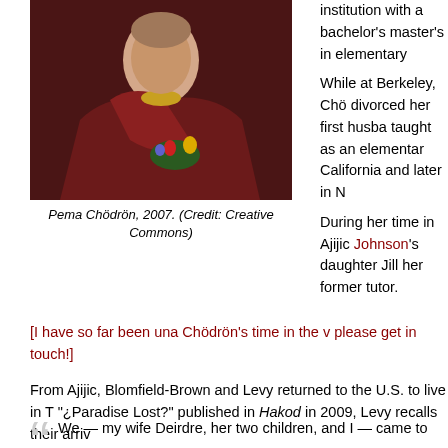[Figure (photo): Pema Chödrön seated in maroon Buddhist robes with yellow collar, holding flowers with red and yellow blossoms, photographed in 2007]
Pema Chödrön, 2007. (Credit: Creative Commons)
institution with a bachelor's ... master's in elementary ...
While at Berkeley, Chö... divorced her first husba... taught as an elementar... California and later in N...
During her time in Ajijic... Johnson's daughter Jill... her former tutor.
[I have so far been una... Chödrön's time in the v... please get in touch!]
From Ajijic, Blomfield-Brown and Levy returned to the U.S. to live in T... "¿Paradise Lost?" published in Hakod in 2009, Levy recalls their arriv...
We — my wife Deirdre, her two children, and I — came to...